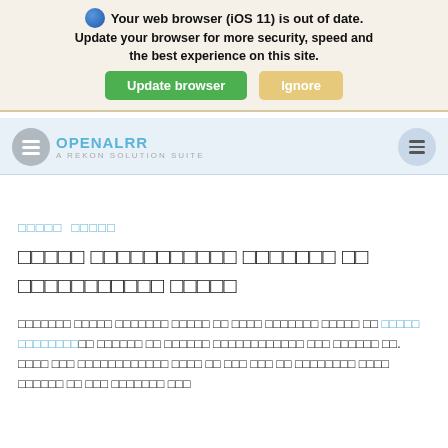[Figure (screenshot): Browser update notification banner with globe icon, bold warning text 'Your web browser (iOS 11) is out of date. Update your browser for more security, speed and the best experience on this site.' with green 'Update browser' button and tan 'Ignore' button.]
[Figure (screenshot): OpenAlRR website header bar with logo, site name, and hamburger menu icon on a light blue background.]
□□□□□ □□□□□
□□□□□ □□□□□□□□□□□ □□□□□□□ □□ □□□□□□□□□□□ □□□□□
□□□□□□□ □□□□□ □□□□□□□ □□□□□ □□ □□□□ □□□□□□□ □□□□□ □□ □□□□□ □□□□□□□□. □□□□□□ □□ □□□□□□ □□□□□□□□□□□□ □□□ □□□□□□ □□. □□□□ □□□ □□□□□□□□□□□□ □□□□ □□ □□□ □□□ □□ □□□□□□□□ □□□□ □□□□□□ □□ □□□ □□□□□□□ □□□